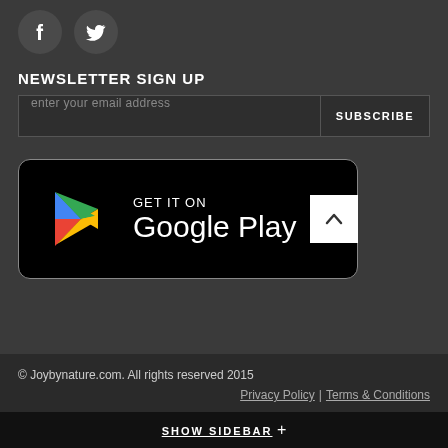[Figure (logo): Facebook and Twitter social media icons as white symbols on dark circular backgrounds]
NEWSLETTER SIGN UP
enter your email address | SUBSCRIBE
[Figure (logo): Get it on Google Play badge with Google Play logo (colorful triangle play button) on black rounded rectangle background]
© Joybynature.com. All rights reserved 2015  Privacy Policy | Terms & Conditions
SHOW SIDEBAR +